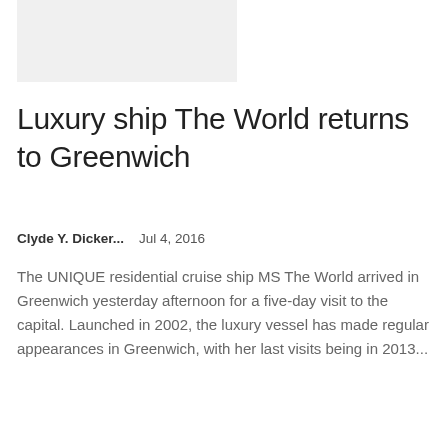[Figure (photo): A light gray rectangular image placeholder at the top of the page]
Luxury ship The World returns to Greenwich
Clyde Y. Dicker...    Jul 4, 2016
The UNIQUE residential cruise ship MS The World arrived in Greenwich yesterday afternoon for a five-day visit to the capital. Launched in 2002, the luxury vessel has made regular appearances in Greenwich, with her last visits being in 2013...